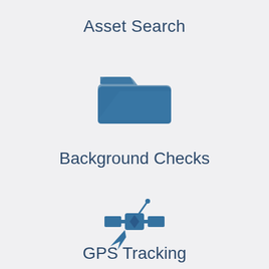Asset Search
[Figure (illustration): Blue open folder icon]
Background Checks
[Figure (illustration): Blue satellite icon]
GPS Tracking